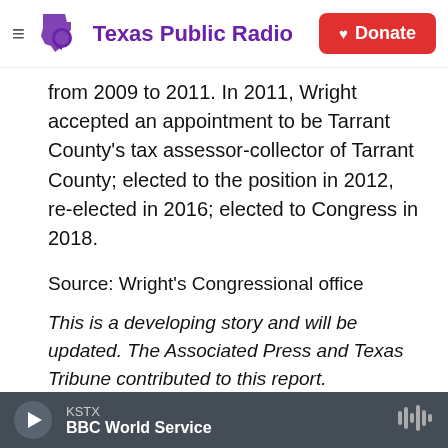Texas Public Radio — Donate
from 2009 to 2011. In 2011, Wright accepted an appointment to be Tarrant County's tax assessor-collector of Tarrant County; elected to the position in 2012, re-elected in 2016; elected to Congress in 2018.
Source: Wright's Congressional office
This is a developing story and will be updated. The Associated Press and Texas Tribune contributed to this report.
KERA News is made possible through the
KSTX — BBC World Service